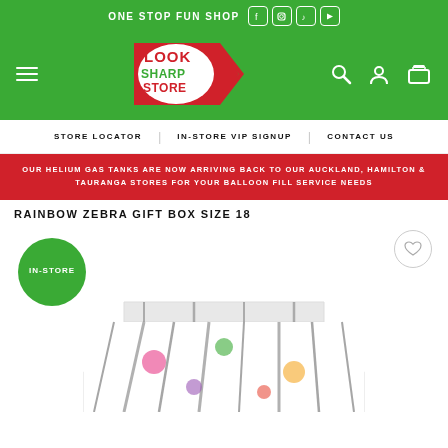ONE STOP FUN SHOP
[Figure (logo): Look Sharp Store logo with red arrow]
STORE LOCATOR | IN-STORE VIP SIGNUP | CONTACT US
OUR HELIUM GAS TANKS ARE NOW ARRIVING BACK TO OUR AUCKLAND, HAMILTON & TAURANGA STORES FOR YOUR BALLOON FILL SERVICE NEEDS
RAINBOW ZEBRA GIFT BOX SIZE 18
[Figure (photo): Product image of Rainbow Zebra Gift Box with IN-STORE badge and heart wishlist button. Partial view of colourful zebra-patterned gift box at bottom of image.]